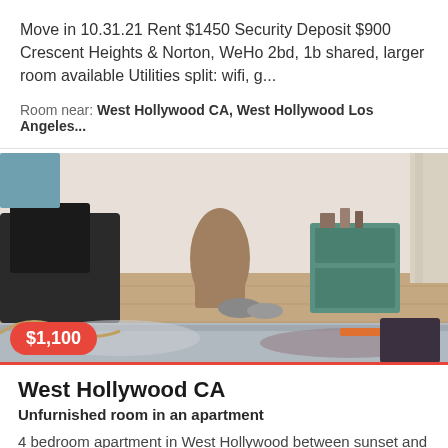Move in 10.31.21 Rent $1450 Security Deposit $900 Crescent Heights & Norton, WeHo 2bd, 1b shared, larger room available Utilities split: wifi, g...
Room near: West Hollywood CA, West Hollywood Los Angeles...
[Figure (photo): Interior photo of a bedroom/apartment room with hardwood floors, various items on the floor including shoes and bags, a teal nightstand, and a bed with grey bedding visible in the foreground. A price badge showing $1,100 is overlaid at the bottom left.]
West Hollywood CA
Unfurnished room in an apartment
4 bedroom apartment in West Hollywood between sunset and Santa Monica. Premier location if you like to go out for fun the room is more than enough spa...